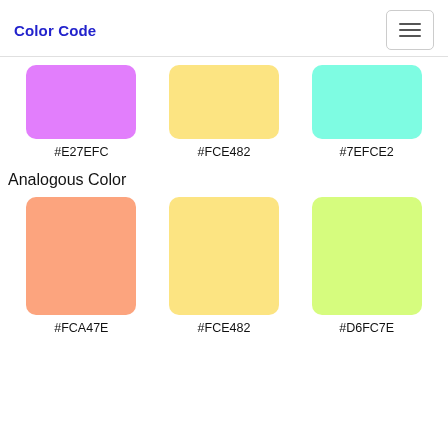Color Code
[Figure (infographic): Three color swatches in a row: purple (#E27EFC), yellow (#FCE482), teal (#7EFCE2) with hex labels below each]
Analogous Color
[Figure (infographic): Three color swatches in a row: salmon (#FCA47E), yellow (#FCE482), lime green (#D6FC7E) with hex labels below each]